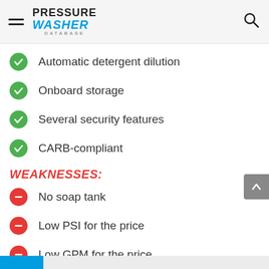Pressure Washer Database
Automatic detergent dilution
Onboard storage
Several security features
CARB-compliant
WEAKNESSES:
No soap tank
Low PSI for the price
Low GPM for the price
Low CU for the price